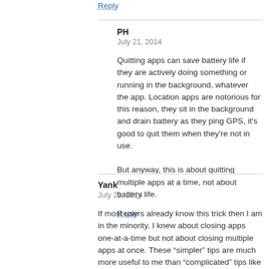Reply
PH
July 21, 2014
Quitting apps can save battery life if they are actively doing something or running in the background, whatever the app. Location apps are notorious for this reason, they sit in the background and drain battery as they ping GPS, it's good to quit them when they're not in use.

But anyway, this is about quitting multiple apps at a time, not about battery life.
Reply
Yank
July 21, 2014
If most users already know this trick then I am in the minority. I knew about closing apps one-at-a-time but not about closing multiple apps at once. These “simpler” tips are much more useful to me than “complicated” tips like Command Line tricks that I have never ventured to use.